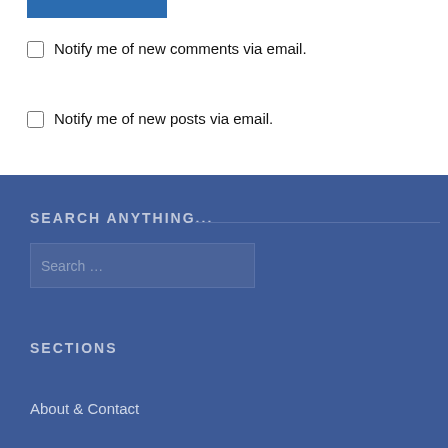Notify me of new comments via email.
Notify me of new posts via email.
SEARCH ANYTHING...
Search ...
SECTIONS
About & Contact